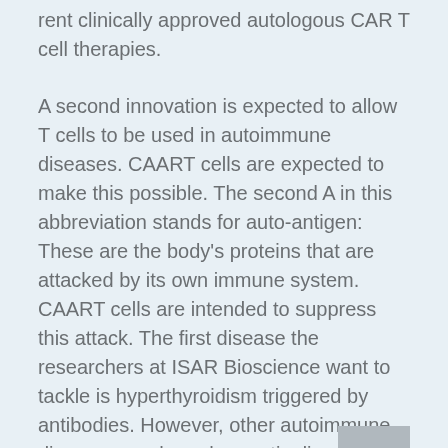rent clinically approved autologous CAR T cell therapies.
A second innovation is expected to allow T cells to be used in autoimmune diseases. CAART cells are expected to make this possible. The second A in this abbreviation stands for auto-antigen: These are the body's proteins that are attacked by its own immune system. CAART cells are intended to suppress this attack. The first disease the researchers at ISAR Bioscience want to tackle is hyperthyroidism triggered by antibodies. However, other autoimmune diseases, such as rheumatic diseases, may also be amenable to such therapy.
The Bavarian research company specializes in the production of customized stem cells and